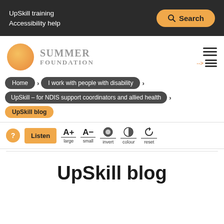UpSkill training  Accessibility help  Search
[Figure (logo): Summer Foundation logo: orange circle with SUMMER FOUNDATION text in grey serif font]
Home > I work with people with disability > UpSkill – for NDIS support coordinators and allied health > UpSkill blog
? Listen  A+ large  A- small  invert  colour  reset
UpSkill blog